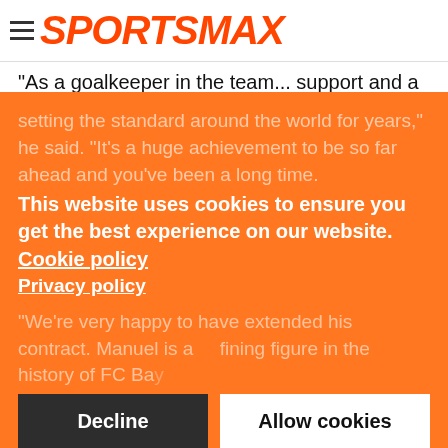SPORTSMAX
"As a goalkeeper in the team... support and a key factor in our big goals. We want to extend our title record and compete again for the DFB Cup and Champions League."
Of goalkeepers who played at least 20 games in the Bundesliga in the 2021-22 season, no one conceded fewer than Neuer's 26 goals (in 28 games).
Former Bayern stopper Oliver Kahn, who is now the club's chief executive, also spoke of his pleasure at the news.
"Manuel Neuer is the best goalkeeper in the world and has been setting the standard around the world for years," he said. "It's a huge achievement to be so far ahead and you've been a long time.
"We're very happy to have extended his contract. Manuel is a defining figure in the history of FC Ba...
This website uses cookies to ensure you get the best experience on our website. Cookie policy
Privacy policy
Decline
Allow cookies